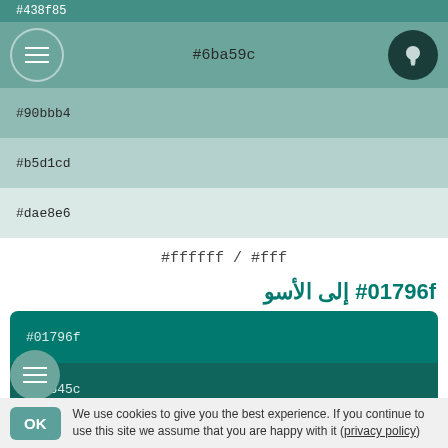#438f85
[Figure (screenshot): Navigation bar with hamburger menu on left (teal circle), #6ba59c color hex code centered, lightbulb icon on right (dark circle)]
#90bbb4
#b5d1cd
#dae8e6
#ffffff / #fff
#01796f إلى الأسو
#01796f
#0f645c
#135049
#143c38
#122a27
We use cookies to give you the best experience. If you continue to use this site we assume that you are happy with it (privacy policy)